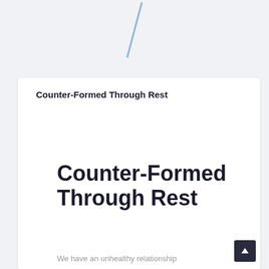[Figure (illustration): Light blue diagonal slash/forward-slash icon centered at the top of the page on a light gray background]
Counter-Formed Through Rest
Counter-Formed Through Rest
We have an unhealthy relationship